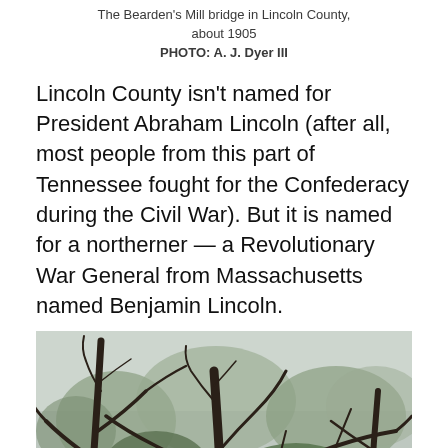The Bearden's Mill bridge in Lincoln County, about 1905
PHOTO: A. J. Dyer III
Lincoln County isn't named for President Abraham Lincoln (after all, most people from this part of Tennessee fought for the Confederacy during the Civil War). But it is named for a northerner — a Revolutionary War General from Massachusetts named Benjamin Lincoln.
[Figure (photo): Photograph of the Bearden's Mill bridge in Lincoln County, circa 1905. Shows bare winter/early spring trees with tangled branches against an overcast sky, with a stone bridge or wall structure partially visible at the bottom, surrounded by sparse early-spring foliage.]